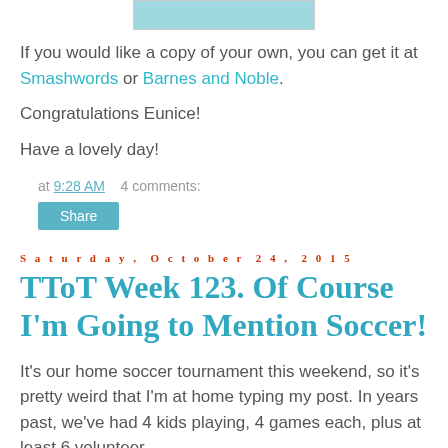[Figure (other): Light blue/teal colored rectangular image placeholder at top center]
If you would like a copy of your own, you can get it at Smashwords or Barnes and Noble.
Congratulations Eunice!
Have a lovely day!
at 9:28 AM    4 comments:
Share
Saturday, October 24, 2015
TToT Week 123. Of Course I'm Going to Mention Soccer!
It's our home soccer tournament this weekend, so it's pretty weird that I'm at home typing my post. In years past, we've had 4 kids playing, 4 games each, plus at least 6 volunteer